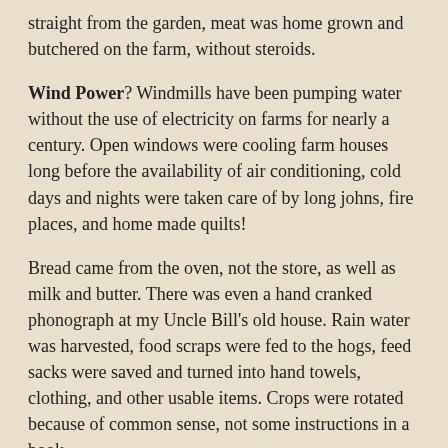straight from the garden, meat was home grown and butchered on the farm, without steroids.
Wind Power? Windmills have been pumping water without the use of electricity on farms for nearly a century. Open windows were cooling farm houses long before the availability of air conditioning, cold days and nights were taken care of by long johns, fire places, and home made quilts!
Bread came from the oven, not the store, as well as milk and butter. There was even a hand cranked phonograph at my Uncle Bill's old house. Rain water was harvested, food scraps were fed to the hogs, feed sacks were saved and turned into hand towels, clothing, and other usable items. Crops were rotated because of common sense, not some instructions in a book.
Little or nothing was wasted or thrown away,everything that could be saved or salvaged was...and was reused again for something new. A different mind-set, a different time. Family looked after family, neighbor helped neighbor. The land was